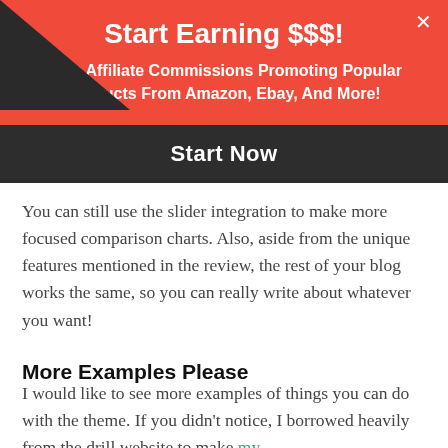Start Earning $$$!
Earn Affiliate Commissions Promoting Popular Products From Amazon, Ebay, And More!
Start Now
You can still use the slider integration to make more focused comparison charts. Also, aside from the unique features mentioned in the review, the rest of your blog works the same, so you can really write about whatever you want!
More Examples Please
I would like to see more examples of things you can do with the theme. If you didn't notice, I borrowed heavily from the drill website to make my